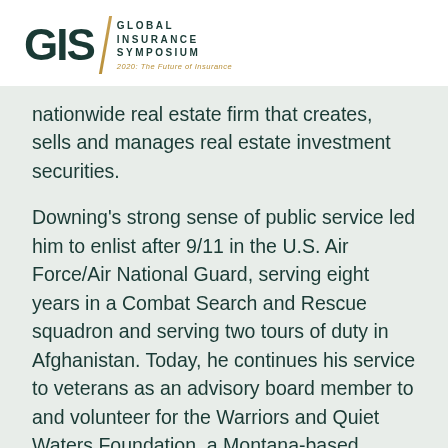[Figure (logo): Global Insurance Symposium logo with GIS text and tagline '2020: The Future of Insurance']
nationwide real estate firm that creates, sells and manages real estate investment securities.
Downing's strong sense of public service led him to enlist after 9/11 in the U.S. Air Force/Air National Guard, serving eight years in a Combat Search and Rescue squadron and serving two tours of duty in Afghanistan. Today, he continues his service to veterans as an advisory board member to and volunteer for the Warriors and Quiet Waters Foundation, a Montana-based organization that uses fly fishing and Montana's natural beauty as a simple, but powerfully effective, healing therapy for post-9/11 combat veterans and their families. In response to the COVID-19